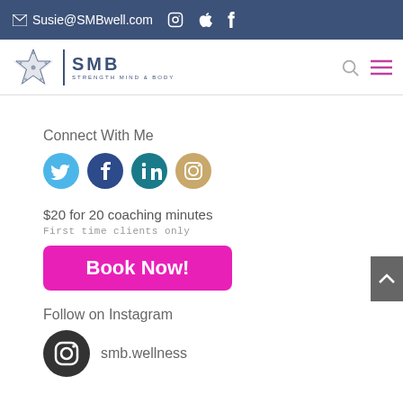Susie@SMBwell.com
[Figure (logo): SMB Strength Mind & Body logo with star and text]
Connect With Me
[Figure (infographic): Social media icons: Twitter, Facebook, LinkedIn, Instagram]
$20 for 20 coaching minutes
First time clients only
[Figure (infographic): Book Now! button in magenta]
Follow on Instagram
[Figure (infographic): Instagram icon circle with handle smb.wellness]
smb.wellness